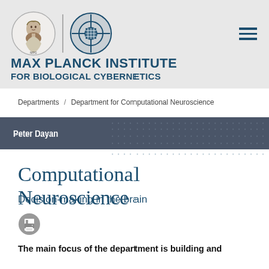[Figure (logo): Max Planck Institute for Biological Cybernetics logo with Minerva head and geometric tech symbol]
MAX PLANCK INSTITUTE FOR BIOLOGICAL CYBERNETICS
Departments / Department for Computational Neuroscience
Peter Dayan
Computational Neuroscience
Decision-making in the brain
The main focus of the department is building and